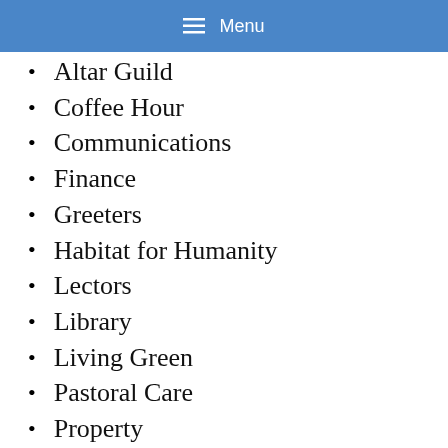Menu
Altar Guild
Coffee Hour
Communications
Finance
Greeters
Habitat for Humanity
Lectors
Library
Living Green
Pastoral Care
Property
St. Stephen's Table
Ushers
Young People's